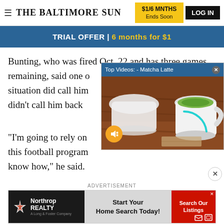THE BALTIMORE SUN | $1/6 MNTHS Ends Soon | LOG IN
TRIAL OFFER | 6 months for $1
Bunting, who was fired Oct. 22 and has three games remaining, said one of the situation did call him situation didn't call him back a
[Figure (screenshot): Video overlay popup titled 'Top Videos: - Matcha Latte' showing a photo of a matcha latte in a white cup on a wooden table, with a mute button (speaker icon crossed out in orange circle) and close X button.]
"I'm going to rely on this football program know how," he said.
ADVERTISEMENT
[Figure (screenshot): Northrop Realty advertisement banner with logo on dark background, 'Start Your Home Search Today!' text in center, and 'Search Our Listings' red button on right.]